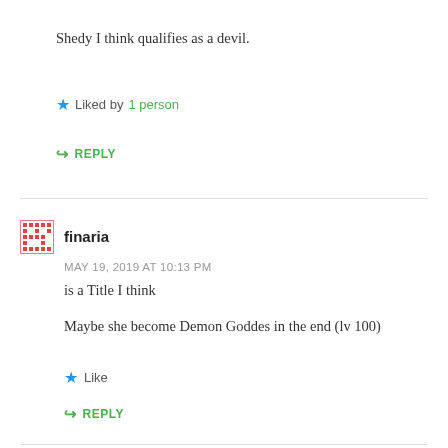Shedy I think qualifies as a devil.
Liked by 1 person
REPLY
finaria
MAY 19, 2019 AT 10:13 PM
is a Title I think
Maybe she become Demon Goddes in the end (lv 100)
Like
REPLY